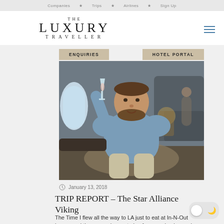Companies  Trips  Airlines  Sign Up
THE LUXURY TRAVELLER
[Figure (illustration): Navigation buttons: ENQUIRIES and HOTEL PORTAL on a hero background]
[Figure (photo): Man in denim shirt sitting in business class airplane seat, raising a champagne glass, with airplane window and interior visible in background]
January 13, 2018
TRIP REPORT – The Star Alliance Viking
The Time I flew all the way to LA just to eat at In-N-Out burger and then come home, trying four new business class cabins en